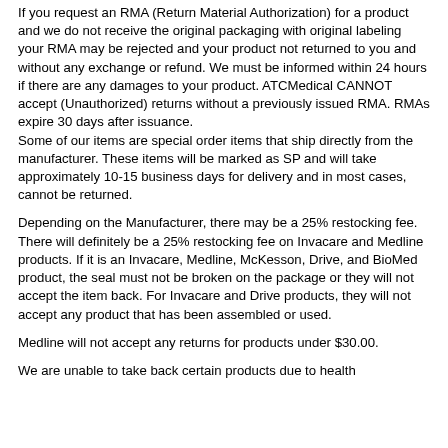If you request an RMA (Return Material Authorization) for a product and we do not receive the original packaging with original labeling your RMA may be rejected and your product not returned to you and without any exchange or refund.  We must be informed within 24 hours if there are any damages to your product.  ATCMedical CANNOT accept (Unauthorized) returns without a previously issued RMA.  RMAs expire 30 days after issuance.
Some of our items are special order items that ship directly from the manufacturer.  These items will be marked as SP and will take approximately 10-15 business days for delivery and in most cases, cannot be returned.
Depending on the Manufacturer, there may be a 25% restocking fee.  There will definitely be a 25% restocking fee on Invacare and Medline products.  If it is an Invacare, Medline, McKesson, Drive, and BioMed product, the seal must not be broken on the package or they will not accept the item back. For Invacare and Drive products, they will not accept any product that has been assembled or used.
Medline will not accept any returns for products under $30.00.
We are unable to take back certain products due to health